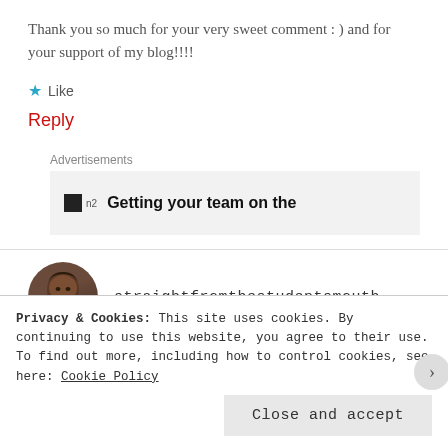Thank you so much for your very sweet comment : ) and for your support of my blog!!!!
★ Like
Reply
Advertisements
Getting your team on the
straightfromthestudentsmouth
Privacy & Cookies: This site uses cookies. By continuing to use this website, you agree to their use. To find out more, including how to control cookies, see here: Cookie Policy
Close and accept